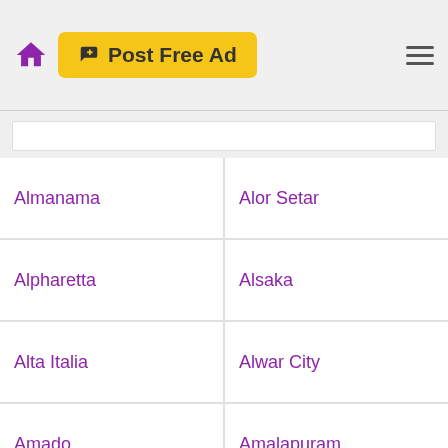Post Free Ad
Almanama
Alor Setar
Alpharetta
Alsaka
Alta Italia
Alwar City
Amado
Amalapuram
Amar Colony
Amarillo
Ambajogai
Ambala
Ambala Cantonment
Ambala Cantt
Ambala City
Ambarnath (East)
Ambernath
Ambikapurm